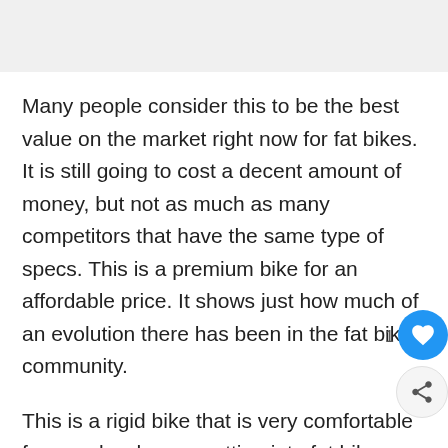Many people consider this to be the best value on the market right now for fat bikes. It is still going to cost a decent amount of money, but not as much as many competitors that have the same type of specs. This is a premium bike for an affordable price. It shows just how much of an evolution there has been in the fat bike community.
This is a rigid bike that is very comfortable for people who are getting into fat bike riding for the first time. About the only negative is the fact that it weighs a little heavier than some others in the price range. They make up for it with quality parts everywhere